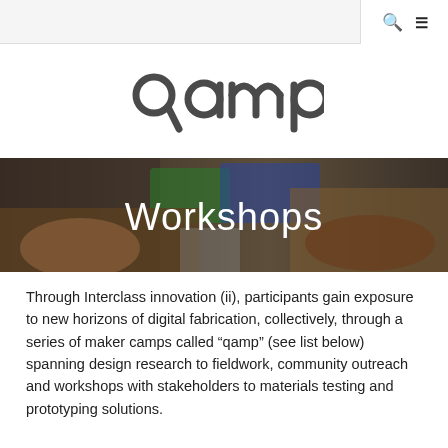[Figure (logo): Qamp logo — stylized text reading 'qamp' in a custom rounded sans-serif typeface, dark gray color]
[Figure (photo): Hero banner photo showing hands working with electronics components on a table, with green circuit boards and blue items visible. Overlaid white text reads 'Workshops'.]
Workshops
Through Interclass innovation (ii), participants gain exposure to new horizons of digital fabrication, collectively, through a series of maker camps called “qamp” (see list below) spanning design research to fieldwork, community outreach and workshops with stakeholders to materials testing and prototyping solutions.